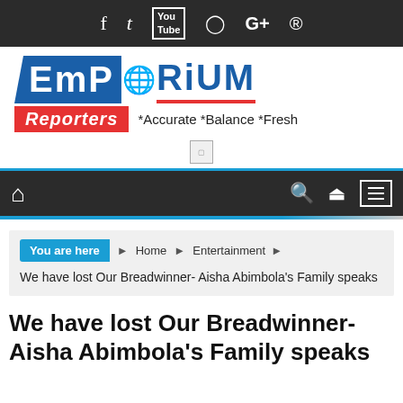Social media icons: Facebook, Twitter, YouTube, Instagram, Google+, Pinterest
[Figure (logo): Emporium Reporters logo with tagline *Accurate *Balance *Fresh]
[Figure (other): Advertisement placeholder image]
Navigation bar with home icon, search, shuffle, and menu icons
You are here  Home  Entertainment
We have lost Our Breadwinner- Aisha Abimbola's Family speaks
We have lost Our Breadwinner- Aisha Abimbola's Family speaks